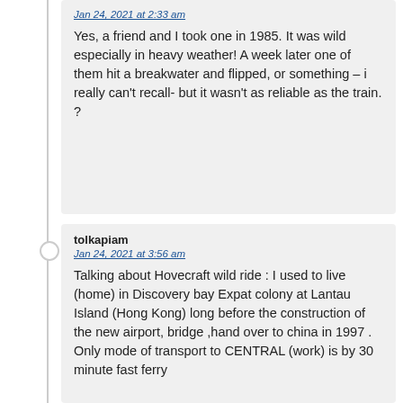Jan 24, 2021 at 2:33 am
Yes, a friend and I took one in 1985. It was wild especially in heavy weather! A week later one of them hit a breakwater and flipped, or something – i really can't recall- but it wasn't as reliable as the train. ?
tolkapiam
Jan 24, 2021 at 3:56 am
Talking about Hovecraft wild ride : I used to live (home) in Discovery bay Expat colony at Lantau Island (Hong Kong) long before the construction of the new airport, bridge ,hand over to china in 1997 . Only mode of transport to CENTRAL (work) is by 30 minute fast ferry